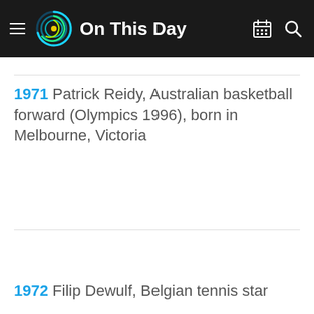On This Day
1971 Patrick Reidy, Australian basketball forward (Olympics 1996), born in Melbourne, Victoria
1972 Filip Dewulf, Belgian tennis star